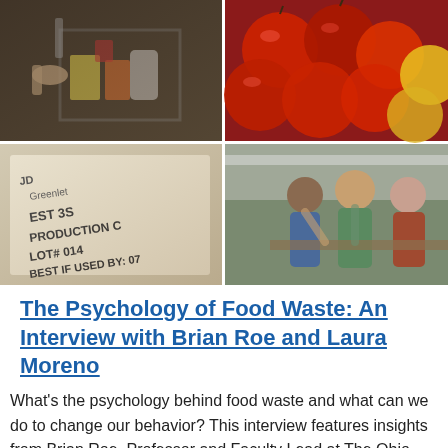[Figure (photo): Four-panel photo collage: top-left shows hands with a shopping cart full of groceries; top-right shows red and yellow apples; bottom-left shows a food product label with text 'EST 3S PRODUCTION C... LOT# 014 BEST IF USED BY: 07'; bottom-right shows three people looking down at something outdoors.]
The Psychology of Food Waste: An Interview with Brian Roe and Laura Moreno
What's the psychology behind food waste and what can we do to change our behavior? This interview features insights from Brian Roe, Professor and Faculty Lead at The Ohio State University's Food Waste Collaborative and Laura